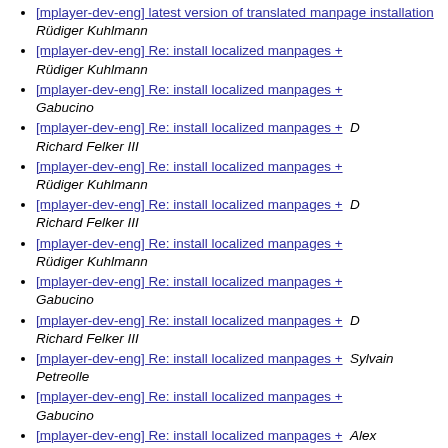[mplayer-dev-eng] latest version of translated manpage installation  Rüdiger Kuhlmann
[mplayer-dev-eng] Re: install localized manpages +  Rüdiger Kuhlmann
[mplayer-dev-eng] Re: install localized manpages +  Gabucino
[mplayer-dev-eng] Re: install localized manpages +  D  Richard Felker III
[mplayer-dev-eng] Re: install localized manpages +  Rüdiger Kuhlmann
[mplayer-dev-eng] Re: install localized manpages +  D  Richard Felker III
[mplayer-dev-eng] Re: install localized manpages +  Rüdiger Kuhlmann
[mplayer-dev-eng] Re: install localized manpages +  Gabucino
[mplayer-dev-eng] Re: install localized manpages +  D  Richard Felker III
[mplayer-dev-eng] Re: install localized manpages +  Sylvain Petreolle
[mplayer-dev-eng] Re: install localized manpages +  Gabucino
[mplayer-dev-eng] Re: install localized manpages +  Alex Beregszaszi
[mplayer-dev-eng] Re: install localized manpages +